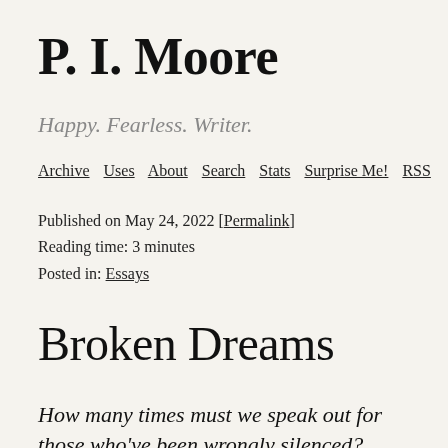P. I. Moore
Happy. Fearless. Writer.
Archive  Uses  About  Search  Stats  Surprise Me!  RSS
Published on May 24, 2022 [Permalink]
Reading time: 3 minutes
Posted in: Essays
Broken Dreams
How many times must we speak out for those who've been wrongly silenced?